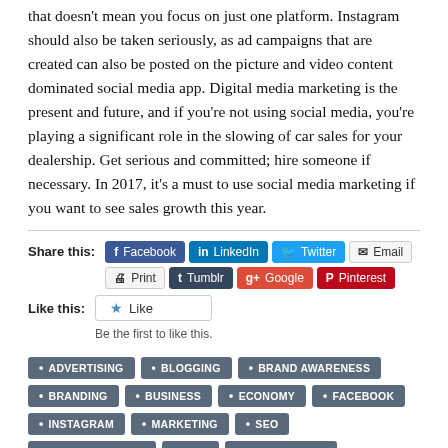that doesn't mean you focus on just one platform. Instagram should also be taken seriously, as ad campaigns that are created can also be posted on the picture and video content dominated social media app. Digital media marketing is the present and future, and if you're not using social media, you're playing a significant role in the slowing of car sales for your dealership. Get serious and committed; hire someone if necessary. In 2017, it's a must to use social media marketing if you want to see sales growth this year.
Share this: Facebook LinkedIn Twitter Email Print Tumblr Google Pinterest
Like this: Like
Be the first to like this.
ADVERTISING
BLOGGING
BRAND AWARENESS
BRANDING
BUSINESS
ECONOMY
FACEBOOK
INSTAGRAM
MARKETING
SEO
SMALL BUSINESS
SMM
SOCIAL MEDIA